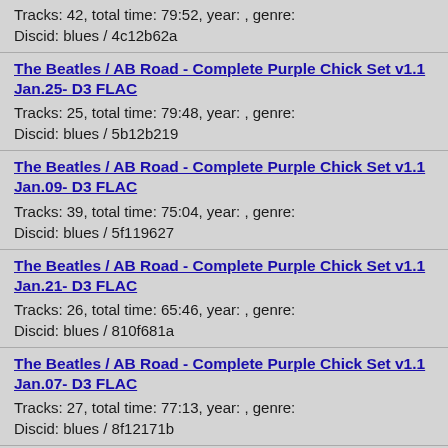Tracks: 42, total time: 79:52, year: , genre:
Discid: blues / 4c12b62a
The Beatles / AB Road - Complete Purple Chick Set v1.1 Jan.25- D3 FLAC
Tracks: 25, total time: 79:48, year: , genre:
Discid: blues / 5b12b219
The Beatles / AB Road - Complete Purple Chick Set v1.1 Jan.09- D3 FLAC
Tracks: 39, total time: 75:04, year: , genre:
Discid: blues / 5f119627
The Beatles / AB Road - Complete Purple Chick Set v1.1 Jan.21- D3 FLAC
Tracks: 26, total time: 65:46, year: , genre:
Discid: blues / 810f681a
The Beatles / AB Road - Complete Purple Chick Set v1.1 Jan.07- D3 FLAC
Tracks: 27, total time: 77:13, year: , genre:
Discid: blues / 8f12171b
The Beatles / AB Road - Complete Purple Chick Set v1.1 Jan.23- D3 FLAC
Tracks: 28, total time: 78:33, year: , genre:
Discid: blues / 8f12671c